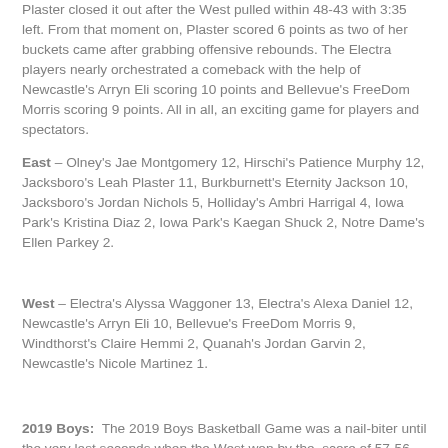Plaster closed it out after the West pulled within 48-43 with 3:35 left. From that moment on, Plaster scored 6 points as two of her buckets came after grabbing offensive rebounds. The Electra players nearly orchestrated a comeback with the help of Newcastle's Arryn Eli scoring 10 points and Bellevue's FreeDom Morris scoring 9 points. All in all, an exciting game for players and spectators.
East – Olney's Jae Montgomery 12, Hirschi's Patience Murphy 12, Jacksboro's Leah Plaster 11, Burkburnett's Eternity Jackson 10, Jacksboro's Jordan Nichols 5, Holliday's Ambri Harrigal 4, Iowa Park's Kristina Diaz 2, Iowa Park's Kaegan Shuck 2, Notre Dame's Ellen Parkey 2.
West – Electra's Alyssa Waggoner 13, Electra's Alexa Daniel 12, Newcastle's Arryn Eli 10, Bellevue's FreeDom Morris 9, Windthorst's Claire Hemmi 2, Quanah's Jordan Garvin 2, Newcastle's Nicole Martinez 1.
2019 Boys:  The 2019 Boys Basketball Game was a nail-biter until the very last seconds when the West won by the  score of 57-56. From the beginning, the West seemed to have an advantage with Rider players Ty Caswell and Ben Moffat playing in their home gym and being coached by Rider's Cliff McGuire.